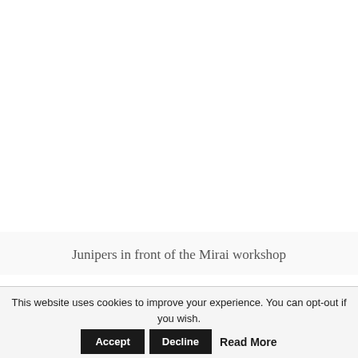Junipers in front of the Mirai workshop
This website uses cookies to improve your experience. You can opt-out if you wish. Accept Decline Read More